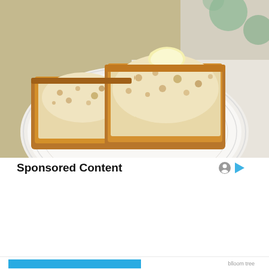[Figure (photo): A muffin split in half with a pat of butter on top, served on a white ribbed plate, with a green patterned background.]
Sponsored Content
Privacy & Cookies: This site uses cookies. By continuing to use this website, you agree to their use.
To find out more, including how to control cookies, see here: Cookie Policy
Close and accept